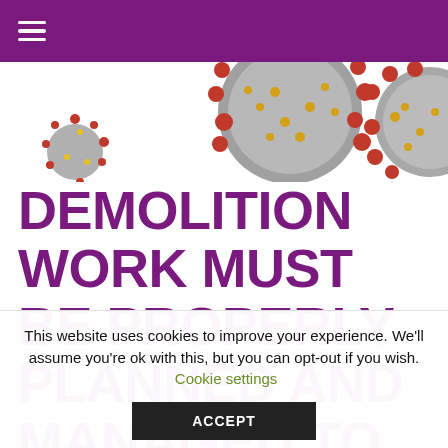[Figure (illustration): Close-up illustration of coronavirus particles with red spike proteins on grey spherical bodies, shown on white background]
DEMOLITION WORK MUST BE PROPERLY PLANNED AND MANAGED TO PREVENT SERIOUS INJURY
This website uses cookies to improve your experience. We'll assume you're ok with this, but you can opt-out if you wish. Cookie settings ACCEPT